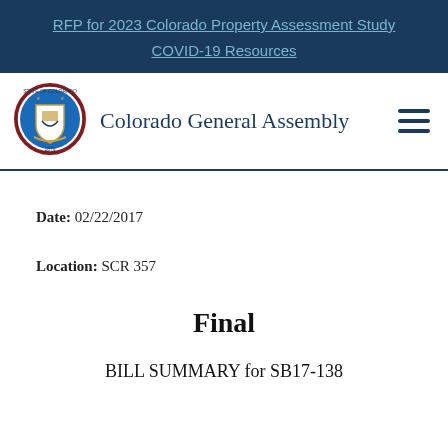RFP for 2023 Colorado Property Assessment Study
COVID-19 Resources
Colorado General Assembly
Date: 02/22/2017
Location: SCR 357
Final
BILL SUMMARY for SB17-138